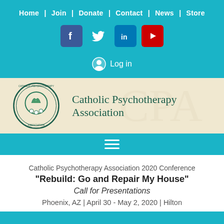Home | Join | Donate | Contact | News | Store
[Figure (logo): Social media icons: Facebook, Twitter, LinkedIn, YouTube]
Log in
[Figure (logo): Catholic Psychotherapy Association logo and banner with organization name]
[Figure (other): Hamburger menu icon]
Catholic Psychotherapy Association 2020 Conference
“Rebuild: Go and Repair My House”
Call for Presentations
Phoenix, AZ | April 30 - May 2, 2020 | Hilton